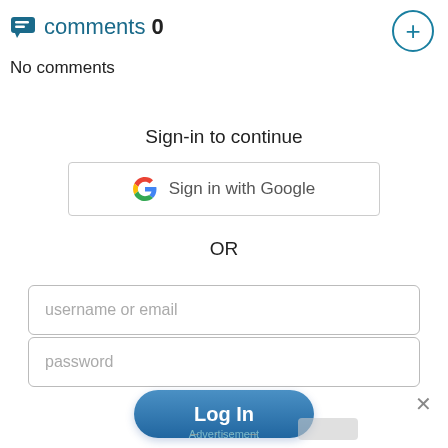comments 0
No comments
Sign-in to continue
[Figure (screenshot): Sign in with Google button with Google multicolor G logo]
OR
username or email
password
Log In
×
Advertisement